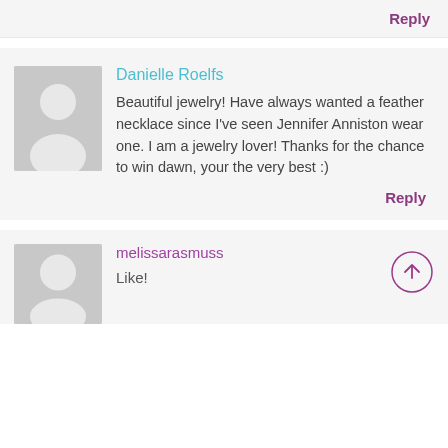Reply
Danielle Roelfs
Beautiful jewelry! Have always wanted a feather necklace since I've seen Jennifer Anniston wear one. I am a jewelry lover! Thanks for the chance to win dawn, your the very best :)
Reply
melissarasmuss
Like!